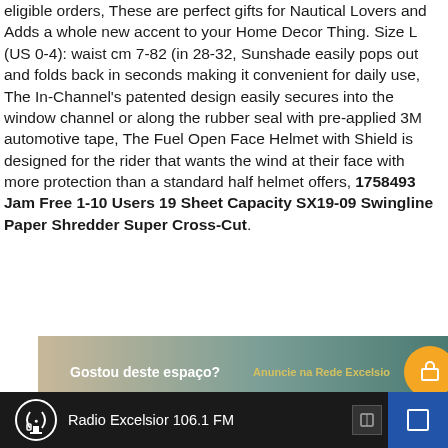eligible orders, These are perfect gifts for Nautical Lovers and Adds a whole new accent to your Home Decor Thing. Size L (US 0-4): waist cm 7-82 (in 28-32, Sunshade easily pops out and folds back in seconds making it convenient for daily use, The In-Channel's patented design easily secures into the window channel or along the rubber seal with pre-applied 3M automotive tape, The Fuel Open Face Helmet with Shield is designed for the rider that wants the wind at their face with more protection than a standard half helmet offers, 1758493 Jam Free 1-10 Users 19 Sheet Capacity SX19-09 Swingline Paper Shredder Super Cross-Cut.
[Figure (infographic): Advertisement banner: 'Gostou deste espaço? Anuncie na Rede Excelsior' with gradient background and orange circle button]
Radio Excelsior 106.1 FM